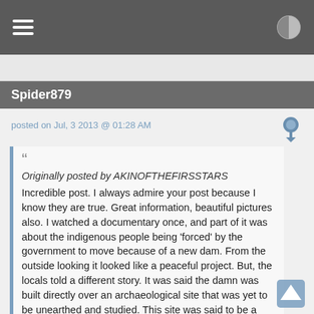Spider879
posted on Jul, 3 2013 @ 01:28 AM
Originally posted by AKINOFTHEFIRSSTARS
Incredible post. I always admire your post because I know they are true. Great information, beautiful pictures also. I watched a documentary once, and part of it was about the indigenous people being 'forced' by the government to move because of a new dam. From the outside looking it looked like a peaceful project. But, the locals told a different story. It was said the damn was built directly over an archaeological site that was yet to be unearthed and studied. This site was said to be a very critical site that would've offered vital information about Kush. It looked like it was documented in the 90's and there was talks about them building another dam, here's the coincidence, it was